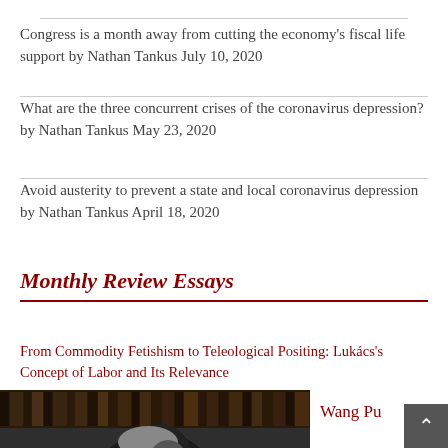Congress is a month away from cutting the economy's fiscal life support by Nathan Tankus July 10, 2020
What are the three concurrent crises of the coronavirus depression? by Nathan Tankus May 23, 2020
Avoid austerity to prevent a state and local coronavirus depression by Nathan Tankus April 18, 2020
Monthly Review Essays
From Commodity Fetishism to Teleological Positing: Lukács's Concept of Labor and Its Relevance
[Figure (photo): Black and white photograph of an elderly man with white hair in profile, with bookshelves in the background]
Wang Pu